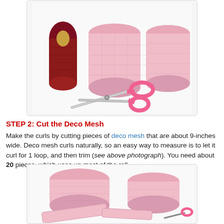[Figure (photo): Photo showing burgundy deco mesh roll, pink deco mesh rolls (unrolled), and pink scissors on white background]
STEP 2: Cut the Deco Mesh
Make the curls by cutting pieces of deco mesh that are about 9-inches wide. Deco mesh curls naturally, so an easy way to measure is to let it curl for 1 loop, and then trim (see above photograph). You need about 20 pieces, which uses up most of the roll.
[Figure (photo): Photo showing cut pieces of pink deco mesh laid out flat, with scissors visible at bottom]